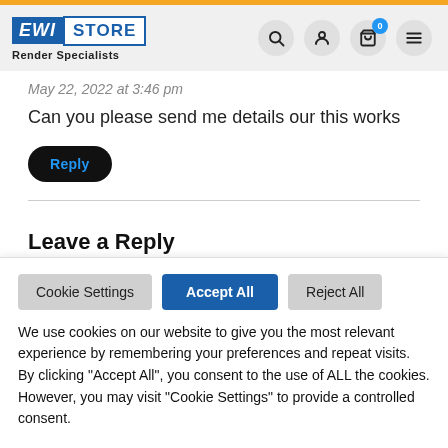[Figure (logo): EWI STORE Render Specialists logo with navigation icons (search, user, cart with badge 0, hamburger menu)]
May 22, 2022 at 3:46 pm
Can you please send me details our this works
Reply
Leave a Reply
Cookie Settings  Accept All  Reject All
We use cookies on our website to give you the most relevant experience by remembering your preferences and repeat visits. By clicking “Accept All”, you consent to the use of ALL the cookies. However, you may visit “Cookie Settings” to provide a controlled consent.